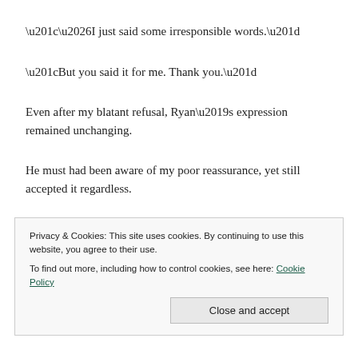“…I just said some irresponsible words.”
“But you said it for me. Thank you.”
Even after my blatant refusal, Ryan’s expression remained unchanging.
He must had been aware of my poor reassurance, yet still accepted it regardless.
Privacy & Cookies: This site uses cookies. By continuing to use this website, you agree to their use.
To find out more, including how to control cookies, see here: Cookie Policy
Close and accept
Fast credit card payoff
“Thank